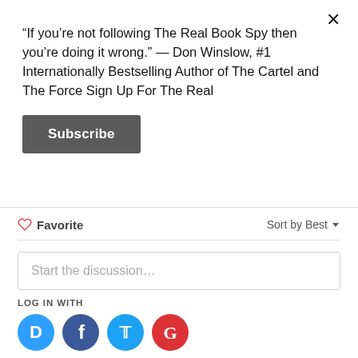“If you’re not following The Real Book Spy then you’re doing it wrong.” — Don Winslow, #1 Internationally Bestselling Author of The Cartel and The Force Sign Up For The Real
Subscribe
Favorite
Sort by Best
Start the discussion…
LOG IN WITH
OR SIGN UP WITH DISQUS
Name